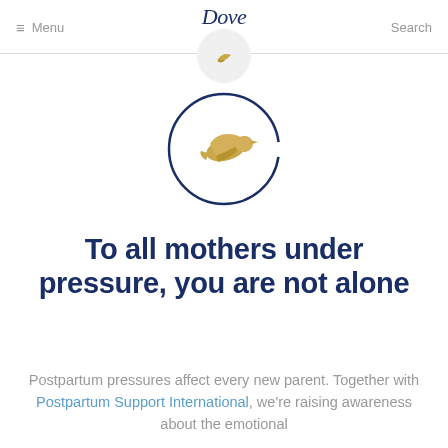≡ Menu  Dove  Search
[Figure (logo): Dove brand logo with golden dove/bird icon inside a dark navy blue circle outline, centered on white background]
To all mothers under pressure, you are not alone
Postpartum pressures affect every new parent. Together with Postpartum Support International, we're raising awareness about the emotional